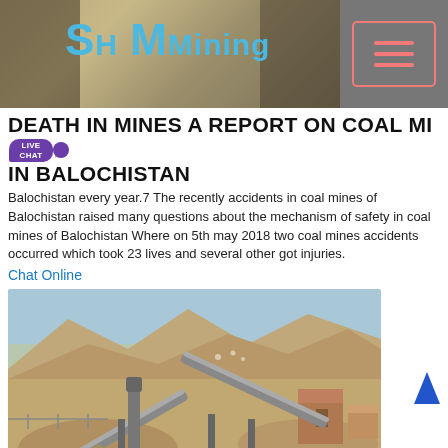SH MMining
DEATH IN MINES A REPORT ON COAL MINES IN BALOCHISTAN
Balochistan every year.7 The recently accidents in coal mines of Balochistan raised many questions about the mechanism of safety in coal mines of Balochistan Where on 5th may 2018 two coal mines accidents occurred which took 23 lives and several other got injuries.
Chat Online
[Figure (photo): Outdoor coal mine facility with conveyor belts and industrial equipment in a desert mountainous landscape, Balochistan]
balochistan dagri zinc mines